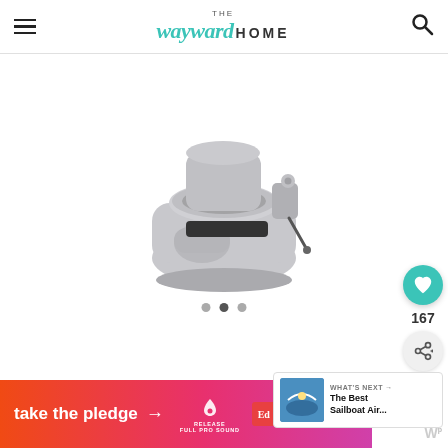The Wayward Home
[Figure (photo): Gray composting toilet product photo on white background]
[Figure (screenshot): Social engagement sidebar with heart icon, 167 likes, and share button]
[Figure (screenshot): What's Next panel showing The Best Sailboat Air...]
[Figure (screenshot): Take the pledge advertisement banner in orange-pink gradient]